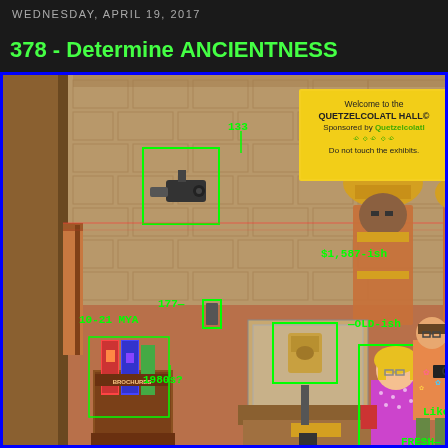WEDNESDAY, APRIL 19, 2017
378 - Determine ANCIENTNESS
[Figure (illustration): Pixel-art webcomic panel showing a museum scene (QUETZELCOLATL HALL) with Aztec warrior statues, a small artifact in a glass display case, tourist visitors, brochure stand, security camera, and green bounding-box overlays with labels: 133, $1,587-ish, 177, 10-21 MYA, 1980s?, OLD-ish, Like the 70s?, FRESH—. A yellow sign reads: Welcome to the QUETZELCOLATL HALL© Sponsored by Quetzelcolatl [symbols] Do not touch the exhibits.]